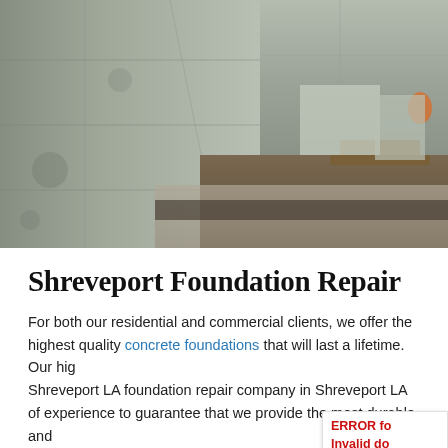[Figure (photo): Photograph of concrete foundation walls at a construction site, showing large smooth concrete retaining walls with a blue sky in the background and construction area visible.]
Shreveport Foundation Repair
For both our residential and commercial clients, we offer the highest quality concrete foundations that will last a lifetime. Our hig Shreveport LA foundation repair company in Shreveport LA of experience to guarantee that we provide the most durable and